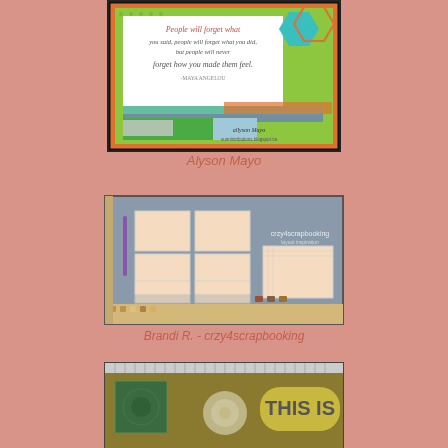[Figure (photo): Craft card with colorful decorative elements, hexagonal shapes in teal and orange, green and teal patterned border, handwritten quote about people, ribbon trim, and signature by Allyson Mayo with blog URL]
Alyson Mayo
[Figure (photo): Scrapbooking layout on gray cutting mat with crzy4scrapbooking branding, showing 6 photo placeholder squares on left side and one large placeholder on right, with patterned trim strip at bottom]
Brandi R. - crzy4scrapbooking
[Figure (photo): Partially visible scrapbook page with ruler at top, green stamped square on left, decorative flower in middle, and 'THIS IS' text in large letters on right with gold/olive background]